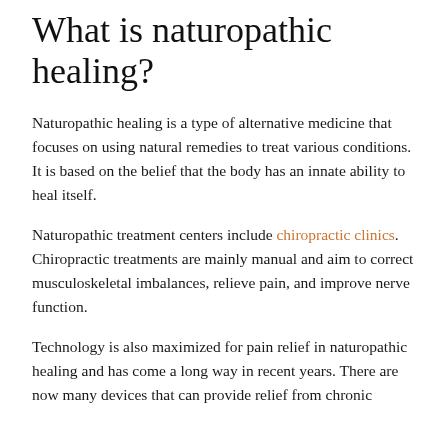What is naturopathic healing?
Naturopathic healing is a type of alternative medicine that focuses on using natural remedies to treat various conditions. It is based on the belief that the body has an innate ability to heal itself.
Naturopathic treatment centers include chiropractic clinics. Chiropractic treatments are mainly manual and aim to correct musculoskeletal imbalances, relieve pain, and improve nerve function.
Technology is also maximized for pain relief in naturopathic healing and has come a long way in recent years. There are now many devices that can provide relief from chronic